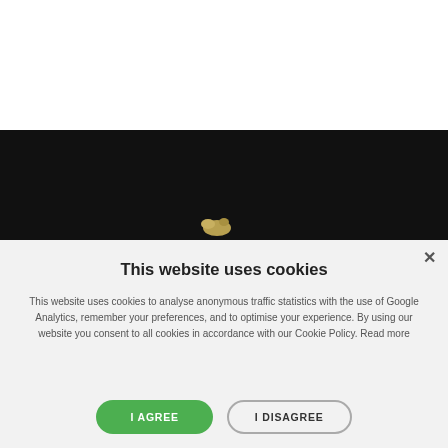[Figure (photo): Dark/black band image area at top of page, partially showing what appears to be a website header with a dark background. A small golden logo/icon is partially visible at the bottom of the dark band.]
This website uses cookies
This website uses cookies to analyse anonymous traffic statistics with the use of Google Analytics, remember your preferences, and to optimise your experience. By using our website you consent to all cookies in accordance with our Cookie Policy. Read more
I AGREE
I DISAGREE